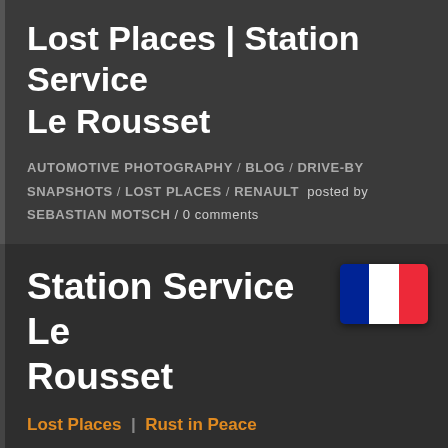Lost Places | Station Service Le Rousset
AUTOMOTIVE PHOTOGRAPHY / BLOG / DRIVE-BY SNAPSHOTS / LOST PLACES / RENAULT  posted by SEBASTIAN MOTSCH / 0 comments
Station Service Le Rousset
Lost Places  |  Rust in Peace
When was the last time you found something not only totally unexpected, but also thought to be extinct by now? Trundling along the Route Départementale D27 at a leisurely pace on a hot day with no cloud in sight, we had